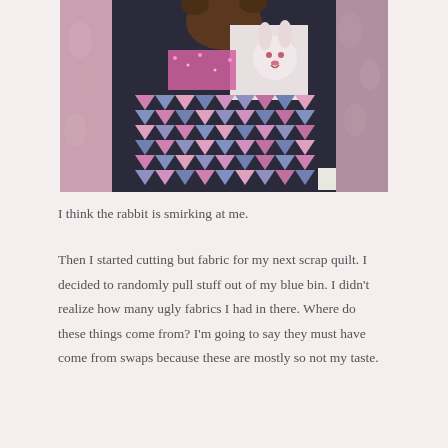[Figure (photo): A photograph of a quilt or cushion with a patchwork pattern in pink and blue triangles/squares, featuring an appliqued rabbit design in the upper center area. The quilt is surrounded by pink paisley fabric.]
I think the rabbit is smirking at me.
Then I started cutting but fabric for my next scrap quilt. I decided to randomly pull stuff out of my blue bin. I didn't realize how many ugly fabrics I had in there. Where do these things come from? I'm going to say they must have come from swaps because these are mostly so not my taste.